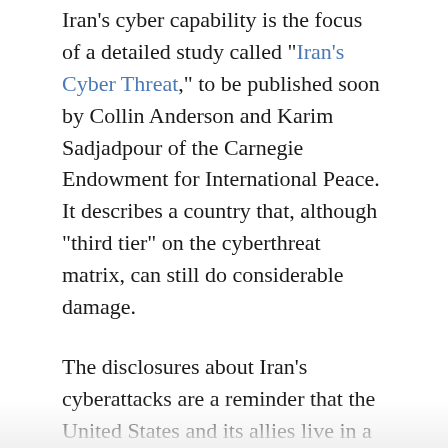Iran's cyber capability is the focus of a detailed study called "Iran's Cyber Threat," to be published soon by Collin Anderson and Karim Sadjadpour of the Carnegie Endowment for International Peace. It describes a country that, although "third tier" on the cyberthreat matrix, can still do considerable damage.
The disclosures about Iran's cyberattacks are a reminder that the United States and its allies live in a dangerous electronic ecosystem. Russia's hacking of the 2016 U.S. presidential campaign gets daily coverage, and China's theft of American secrets has also been well publicized. What gets too little attention are the less sophisticated but still toxic weapons available to dozens of smaller countries. The United States, with its relatively open